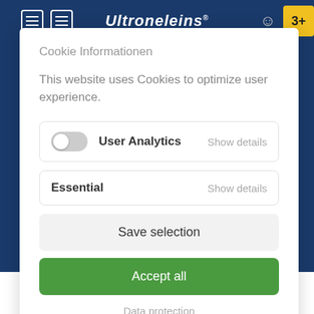[Figure (screenshot): Dark blue website header/background behind cookie modal, with hamburger icons on the left, italic brand logo in center, and a yellow badge icon on right]
Cookie Informationen
This website uses Cookies to optimize user experience.
User Analytics   Show details
Essential   Show details
Save selection
Accept all
Data protection
[Figure (screenshot): Partially visible green 'tonnes' text with leaf logo at bottom of page]